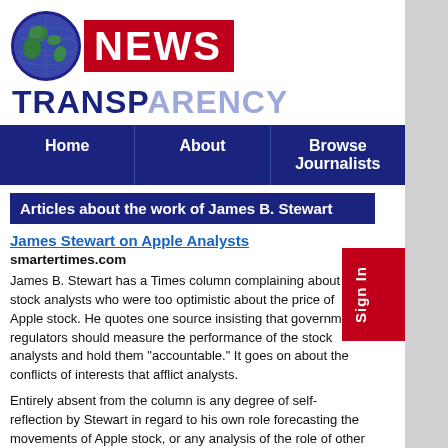[Figure (logo): News Transparency logo with globe icon, red NEWS banner, and blue/lavender TRANSPARENCY text]
Home | About | Browse Journalists
Articles about the work of James B. Stewart
James Stewart on Apple Analysts
smartertimes.com
James B. Stewart has a Times column complaining about stock analysts who were too optimistic about the price of Apple stock. He quotes one source insisting that government regulators should measure the performance of the stock analysts and hold them "accountable." It goes on about the conflicts of interests that afflict analysts.
Entirely absent from the column is any degree of self-reflection by Stewart in regard to his own role forecasting the movements of Apple stock, or any analysis of the role of other financial journalists. In my view, they are just as bad as the stock analysts, maybe worse.
Read More...